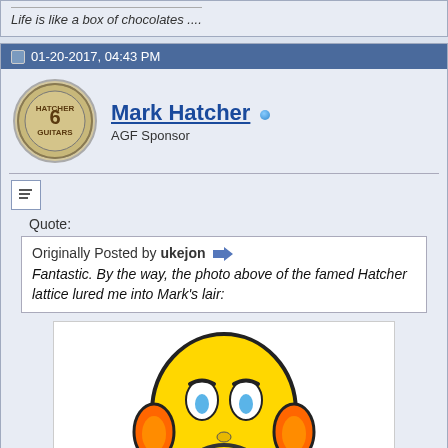Life is like a box of chocolates ....
01-20-2017, 04:43 PM
Mark Hatcher
AGF Sponsor
Quote:
Originally Posted by ukejon
Fantastic. By the way, the photo above of the famed Hatcher lattice lured me into Mark's lair:
[Figure (illustration): A cartoon sad smiley face emoji character with yellow round head, worried expression with blue teardrop eyes, orange earmuff-like accessories, orange feet/hands, and blue shoes, sitting on the ground. Partial view of another emoji at the bottom.]